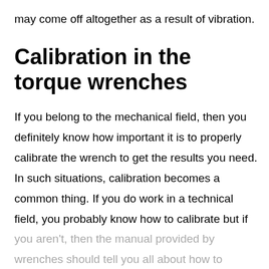may come off altogether as a result of vibration.
Calibration in the torque wrenches
If you belong to the mechanical field, then you definitely know how important it is to properly calibrate the wrench to get the results you need. In such situations, calibration becomes a common thing. If you do work in a technical field, you probably know how to calibrate but if you aren't, then the manual provided by wrenches should tell you all about how to